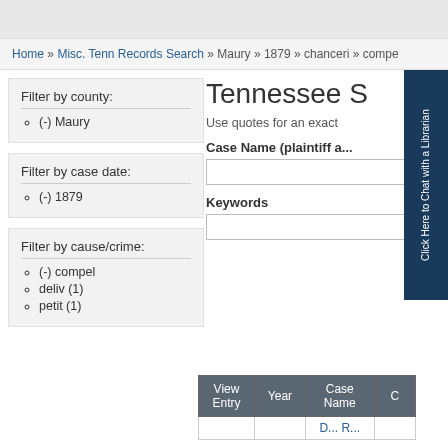Home » Misc. Tenn Records Search » Maury » 1879 » chanceri » compe
Filter by county:
(-) Maury
Filter by case date:
(-) 1879
Filter by cause/crime:
(-) compel
deliv (1)
petit (1)
Tennessee S
Use quotes for an exact
Case Name (plaintiff a...
Keywords
| View Entry | Year | Case Name | C |
| --- | --- | --- | --- |
|  |  | D... R... |  |